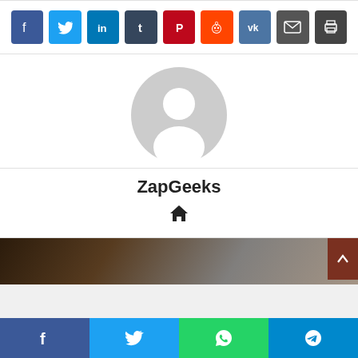[Figure (infographic): Row of social share buttons: Facebook (blue), Twitter (light blue), LinkedIn (dark blue), Tumblr (dark navy), Pinterest (red), Reddit (orange), VK (steel blue), Email (dark gray), Print (dark gray)]
[Figure (illustration): Generic user avatar: gray circle with white silhouette of a person (head and shoulders)]
ZapGeeks
[Figure (infographic): Home icon (house symbol) in dark color]
[Figure (photo): Partial photo of a dark scene, possibly a desk or technology items, partially visible at bottom of page]
[Figure (infographic): Sticky bottom share bar with four buttons: Facebook (blue), Twitter (light blue), WhatsApp (green), Telegram (blue)]